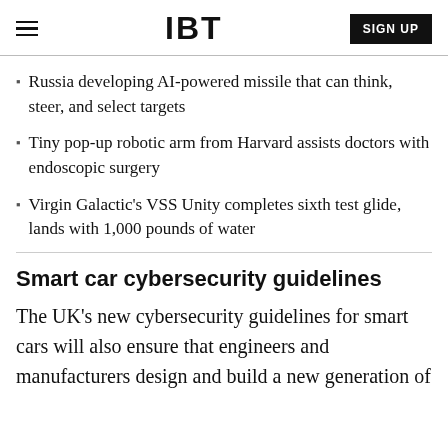IBT
Russia developing AI-powered missile that can think, steer, and select targets
Tiny pop-up robotic arm from Harvard assists doctors with endoscopic surgery
Virgin Galactic's VSS Unity completes sixth test glide, lands with 1,000 pounds of water
Smart car cybersecurity guidelines
The UK's new cybersecurity guidelines for smart cars will also ensure that engineers and manufacturers design and build a new generation of